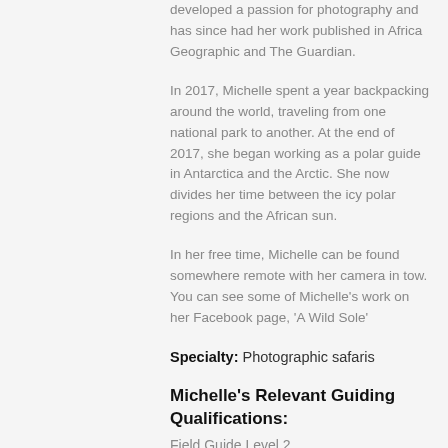developed a passion for photography and has since had her work published in Africa Geographic and The Guardian.
In 2017, Michelle spent a year backpacking around the world, traveling from one national park to another. At the end of 2017, she began working as a polar guide in Antarctica and the Arctic. She now divides her time between the icy polar regions and the African sun.
In her free time, Michelle can be found somewhere remote with her camera in tow. You can see some of Michelle’s work on her Facebook page, ‘A Wild Sole’
Specialty: Photographic safaris
Michelle’s Relevant Guiding Qualifications:
Field Guide Level 2